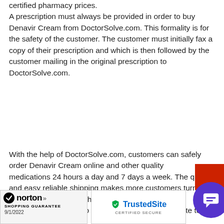certified pharmacy prices. A prescription must always be provided in order to buy Denavir Cream from DoctorSolve.com. This formality is for the safety of the customer. The customer must initially fax a copy of their prescription and which is then followed by the customer mailing in the original prescription to DoctorSolve.com.
With the help of DoctorSolve.com, customers can safely order Denavir Cream online and other quality medications 24 hours a day and 7 days a week. The quick and easy reliable shipping makes more customers turn to online pharmacies for their medications. Orders mainly take 2 to 4 weeks from your order date to arrive at your home.
the generic alternative to see: Penciclovir
[Figure (logo): Norton Shopping Guarantee badge with checkmark, 9/1/2022]
[Figure (logo): TrustedSite Certified Secure badge]